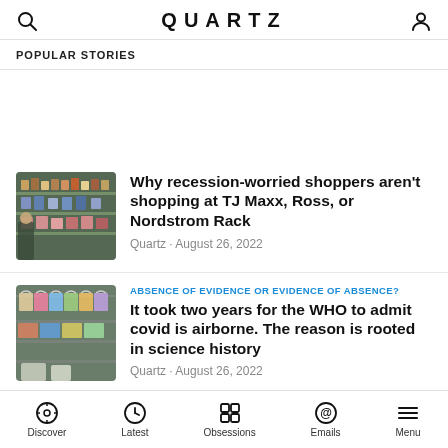QUARTZ
POPULAR STORIES
Why recession-worried shoppers aren't shopping at TJ Maxx, Ross, or Nordstrom Rack
Quartz · August 26, 2022
ABSENCE OF EVIDENCE OR EVIDENCE OF ABSENCE?
It took two years for the WHO to admit covid is airborne. The reason is rooted in science history
Quartz · August 26, 2022
ENOUGH JUICE
Discover  Latest  Obsessions  Emails  Menu